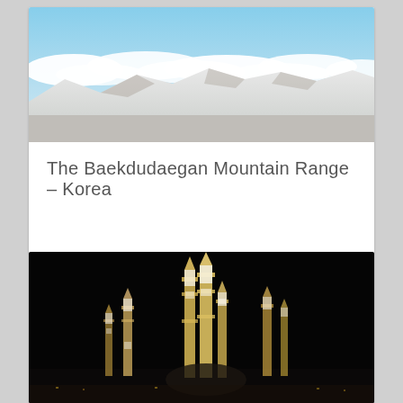[Figure (photo): Aerial view of the Baekdudaegan Mountain Range in Korea, showing snow-covered peaks with clouds on the horizon and blue sky above.]
The Baekdudaegan Mountain Range – Korea
[Figure (photo): Nighttime photo of illuminated mosque minarets against a dark sky, likely the Al-Masjid an-Nabawi or similar mosque, with glowing lights on the towers.]